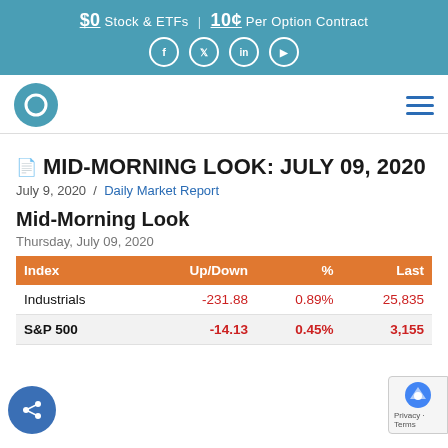$0 Stock & ETFs | 10¢ Per Option Contract
[Figure (logo): Tradier brokerage logo circle with letter e]
MID-MORNING LOOK: JULY 09, 2020
July 9, 2020 / Daily Market Report
Mid-Morning Look
Thursday, July 09, 2020
| Index | Up/Down | % | Last |
| --- | --- | --- | --- |
| Dow Industrials | -231.88 | 0.89% | 25,835 |
| S&P 500 | -14.13 | 0.45% | 3,155 |